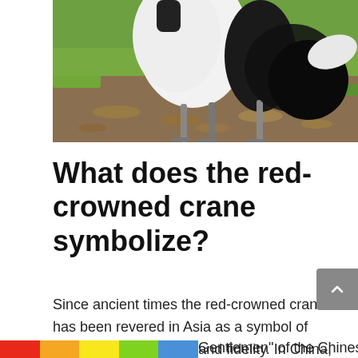[Figure (photo): A red-crowned crane standing on grass and leaf-covered ground, showing its white body and black wing tips and neck markings, viewed from the lower body and legs down.]
What does the red-crowned crane symbolize?
Since ancient times the red-crowned crane has been revered in Asia as a symbol of longevity good fortune and fidelity. In China, the crane is one of the “Four Gentlemen” of the Chinese